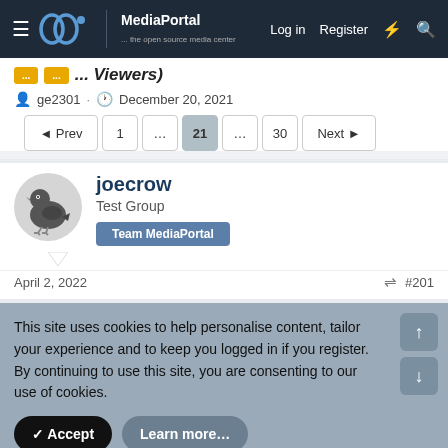MediaPortal ... the open source media center | Log in | Register
Viewers)
ge2301 · December 20, 2021
Prev 1 ... 21 ... 30 Next
joecrow
Test Group
Team MediaPortal
April 2, 2022  #201
This site uses cookies to help personalise content, tailor your experience and to keep you logged in if you register.
By continuing to use this site, you are consenting to our use of cookies.
Accept  Learn more...